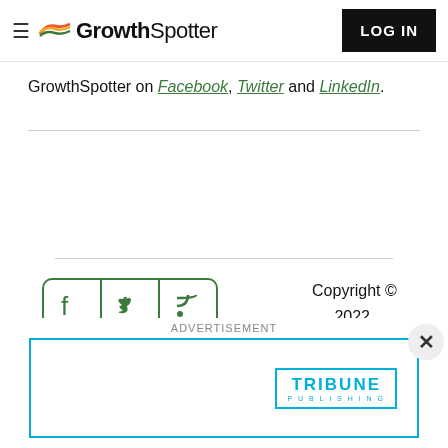GrowthSpotter | LOG IN
GrowthSpotter on Facebook, Twitter and LinkedIn.
[Figure (logo): Social media icon buttons: Facebook, Twitter, RSS feed, arranged in a rounded rectangle border in green]
Copyright © 2022, GrowthSpotter
[Figure (logo): Tribune Publishing advertisement banner with Tribune Publishing logo in teal border]
ADVERTISEMENT